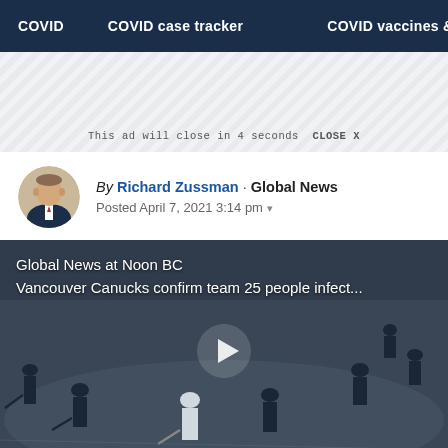COVID | COVID case tracker | COVID vaccines &
This ad will close in 4 seconds  CLOSE X
By Richard Zussman · Global News
Posted April 7, 2021 3:14 pm ▾
[Figure (screenshot): Video thumbnail showing hockey players on ice rink. Text overlay reads: 'Global News at Noon BC / Vancouver Canucks confirm team 25 people infect...' with a play button in the center.]